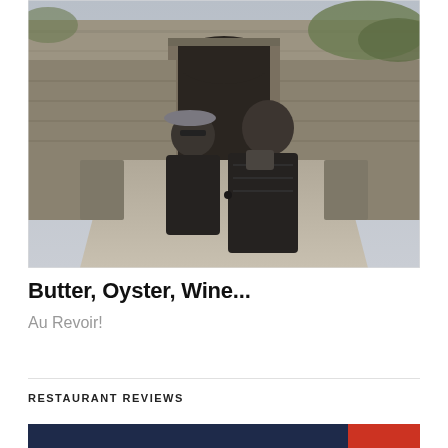[Figure (photo): Two people standing on a stone bridge or walkway in front of a historic stone fortress/castle entrance. A woman in a baseball cap and sunglasses stands beside a man in a quilted dark jacket. The stone walls and archway gateway are visible in the background.]
Butter, Oyster, Wine...
Au Revoir!
RESTAURANT REVIEWS
[Figure (photo): Partial bottom strip showing the top of another image, appears dark/blue toned.]